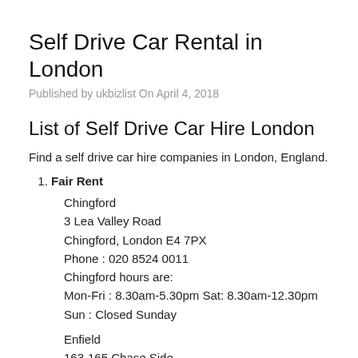Self Drive Car Rental in London
Published by ukbizlist On April 4, 2018
List of Self Drive Car Hire London
Find a self drive car hire companies in London, England.
Fair Rent
Chingford
3 Lea Valley Road
Chingford, London E4 7PX
Phone : 020 8524 0011
Chingford hours are:
Mon-Fri : 8.30am-5.30pm Sat: 8.30am-12.30pm
Sun : Closed Sunday

Enfield
163-165 Chase Side
Enfield, London EN2 0PW
Phone : 020 8559 3658